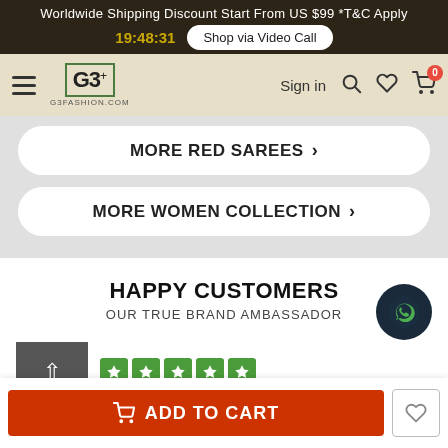Worldwide Shipping Discount Start From US $99 *T&C Apply
19:48:31
Shop via Video Call
[Figure (logo): G3+ fashion logo with green border]
Sign in
MORE RED SAREES >
MORE WOMEN COLLECTION >
HAPPY CUSTOMERS
OUR TRUE BRAND AMBASSADOR
[Figure (other): WhatsApp contact button (dark circle with WhatsApp icon)]
[Figure (other): Customer thumbnail with back arrow and green star rating row]
ADD TO CART